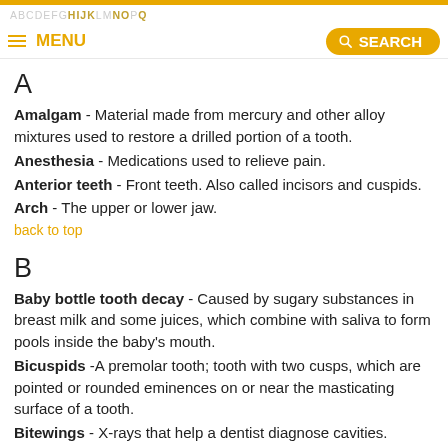A B C D E F G H I J K L M N O P Q — MENU — SEARCH
A
Amalgam - Material made from mercury and other alloy mixtures used to restore a drilled portion of a tooth.
Anesthesia - Medications used to relieve pain.
Anterior teeth - Front teeth. Also called incisors and cuspids.
Arch - The upper or lower jaw.
back to top
B
Baby bottle tooth decay - Caused by sugary substances in breast milk and some juices, which combine with saliva to form pools inside the baby's mouth.
Bicuspids - A premolar tooth; tooth with two cusps, which are pointed or rounded eminences on or near the masticating surface of a tooth.
Bitewings - X-rays that help a dentist diagnose cavities.
Bonding - Application of tooth-colored resin materials to the tooth.